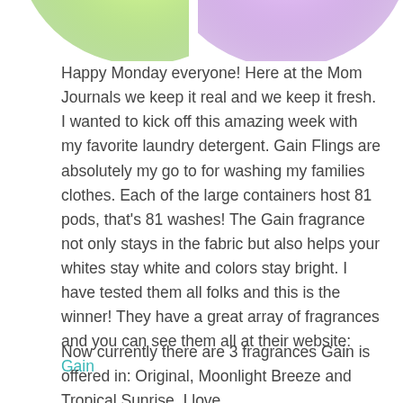[Figure (illustration): Two circular product images partially visible at the top — left one with green gradient tones, right one with purple/lavender gradient tones, representing Gain Flings laundry pod containers.]
Happy Monday everyone! Here at the Mom Journals we keep it real and we keep it fresh. I wanted to kick off this amazing week with my favorite laundry detergent. Gain Flings are absolutely my go to for washing my families clothes. Each of the large containers host 81 pods, that's 81 washes! The Gain fragrance not only stays in the fabric but also helps your whites stay white and colors stay bright. I have tested them all folks and this is the winner! They have a great array of fragrances and you can see them all at their website: Gain
Now currently there are 3 fragrances Gain is offered in: Original, Moonlight Breeze and Tropical Sunrise. I love